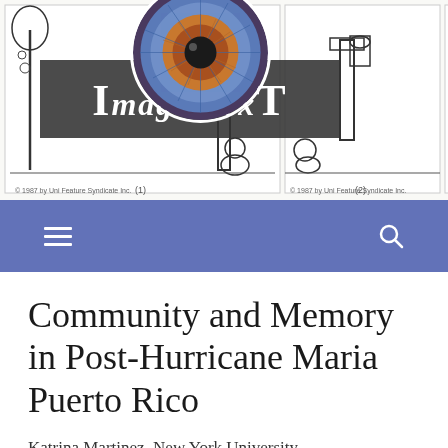[Figure (illustration): ImagéTxT journal header with logo overlaid on comic strip panels showing Calvin and Hobbes-style cartoon characters. Three panels visible with black and white line art. Large circular eye logo with blue iris overlaid on left panel. Dark banner with 'ImagéTxT' text.]
[Figure (other): Blue navigation bar with hamburger menu icon on left and search (magnifying glass) icon on right.]
Community and Memory in Post-Hurricane Maria Puerto Rico
Katrina Martinez, New York University